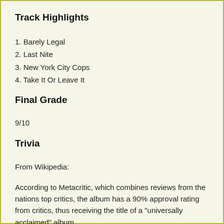Track Highlights
1. Barely Legal
2. Last Nite
3. New York City Cops
4. Take It Or Leave It
Final Grade
9/10
Trivia
From Wikipedia:
According to Metacritic, which combines reviews from the nations top critics, the album has a 90% approval rating from critics, thus receiving the title of a "universally acclaimed" album.